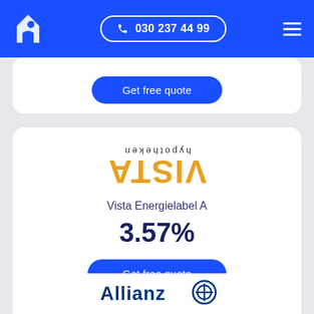030 237 44 99
Get free quote
[Figure (logo): Vista Hypotheken logo - orange bold text VISTA with 'hypotheken' below in smaller text, displayed upside-down]
Vista Energielabel A
3.57%
Get free quote
[Figure (logo): Allianz logo with text and circular icon]